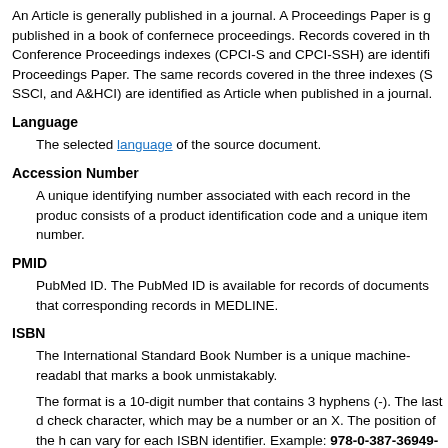An Article is generally published in a journal. A Proceedings Paper is generally published in a book of confernece proceedings. Records covered in the Conference Proceedings indexes (CPCI-S and CPCI-SSH) are identified as Proceedings Paper. The same records covered in the three indexes (S SSCl, and A&HCl) are identified as Article when published in a journal.
Language
The selected language of the source document.
Accession Number
A unique identifying number associated with each record in the product. It consists of a product identification code and a unique item number.
PMID
PubMed ID. The PubMed ID is available for records of documents that have corresponding records in MEDLINE.
ISBN
The International Standard Book Number is a unique machine-readable identifier that marks a book unmistakably.
The format is a 10-digit number that contains 3 hyphens (-). The last digit is a check character, which may be a number or an X. The position of the hyphens can vary for each ISBN identifier. Example: 978-0-387-36949-5
ISSN
The International Standard Serial Number is a unique eight-digit number...